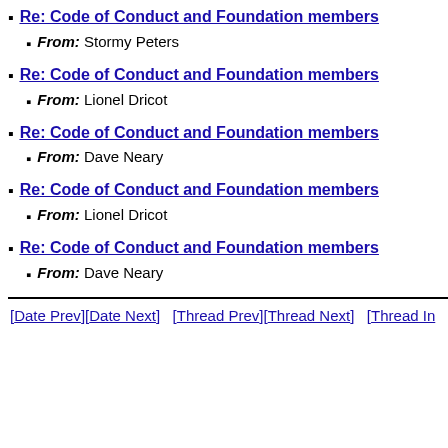Re: Code of Conduct and Foundation members
From: Stormy Peters
Re: Code of Conduct and Foundation members
From: Lionel Dricot
Re: Code of Conduct and Foundation members
From: Dave Neary
Re: Code of Conduct and Foundation members
From: Lionel Dricot
Re: Code of Conduct and Foundation members
From: Dave Neary
[Date Prev][Date Next]   [Thread Prev][Thread Next]   [Thread In